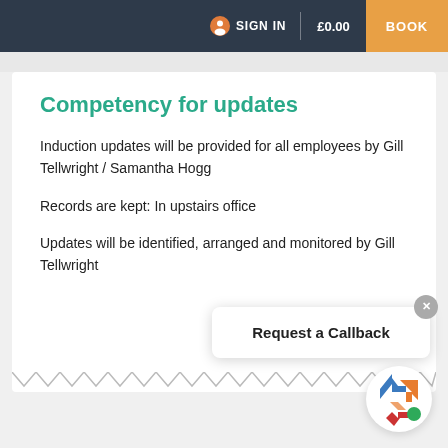SIGN IN | £0.00 | BOOK
Competency for updates
Induction updates will be provided for all employees by Gill Tellwright / Samantha Hogg
Records are kept: In upstairs office
Updates will be identified, arranged and monitored by Gill Tellwright
Request a Callback
[Figure (logo): Colorful logo with figures and arrow shapes in blue, orange, red, and green]